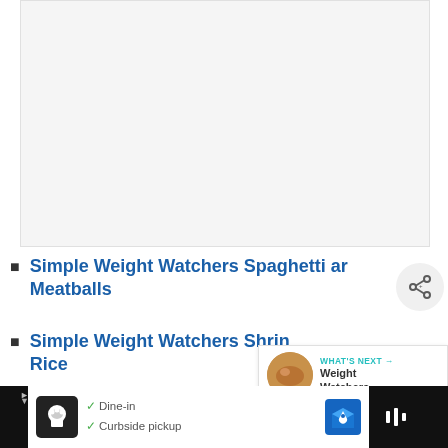[Figure (photo): Large empty/white image area placeholder at the top of the page]
Simple Weight Watchers Spaghetti and Meatballs
Simple Weight Watchers Shrimp Rice
[Figure (infographic): WHAT'S NEXT panel showing a food photo thumbnail with text 'Weight Watchers...']
[Figure (infographic): Bottom advertisement bar: Dine-in, Curbside pickup options with logos and map icon]